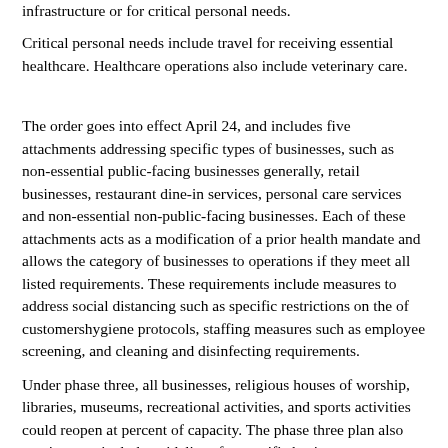infrastructure or for critical personal needs.
Critical personal needs include travel for receiving essential healthcare. Healthcare operations also include veterinary care.
The order goes into effect April 24, and includes five attachments addressing specific types of businesses, such as non-essential public-facing businesses generally, retail businesses, restaurant dine-in services, personal care services and non-essential non-public-facing businesses. Each of these attachments acts as a modification of a prior health mandate and allows the category of businesses to operations if they meet all listed requirements. These requirements include measures to address social distancing such as specific restrictions on the of customershygiene protocols, staffing measures such as employee screening, and cleaning and disinfecting requirements.
Under phase three, all businesses, religious houses of worship, libraries, museums, recreational activities, and sports activities could reopen at percent of capacity. The phase three plan also continues to include guidelines for specific business types, including retail, child care, camps, mass transit, personal services, restaurants, fitness centers, swimming pools and entertainment venues. While Gov. Dunleavy issued Health Mandates and an